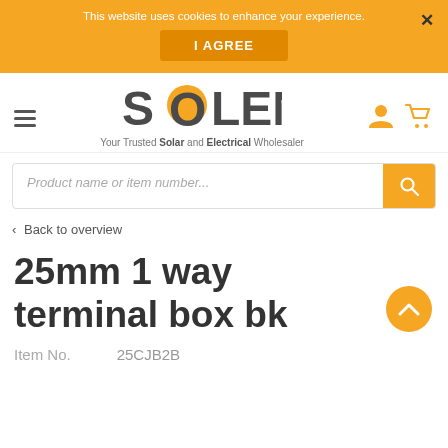This website uses cookies to enhance your experience.
I AGREE
×
[Figure (logo): SOLEN logo with orange circle as letter O, tagline: Your Trusted Solar and Electrical Wholesaler]
Product name or item number...
‹ Back to overview
25mm 1 way terminal box bk
Item No.    25CJB2B